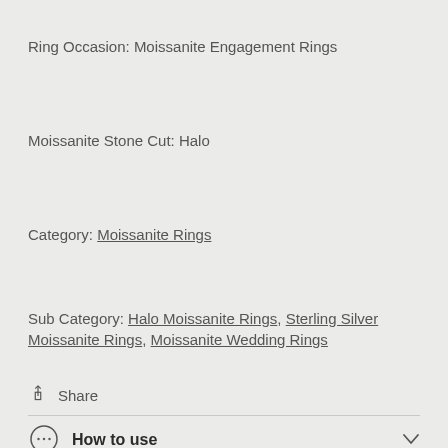Ring Occasion: Moissanite Engagement Rings
Moissanite Stone Cut: Halo
Category: Moissanite Rings
Sub Category: Halo Moissanite Rings, Sterling Silver Moissanite Rings, Moissanite Wedding Rings
Share
How to use